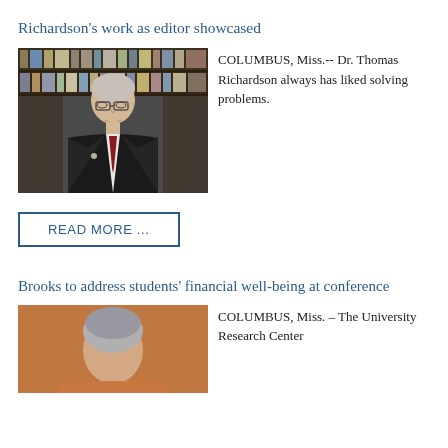Richardson's work as editor showcased
[Figure (photo): Portrait photo of Dr. Thomas Richardson, a middle-aged man with glasses, wearing a black suit and red tie, standing in front of bookshelves.]
COLUMBUS, Miss.-- Dr. Thomas Richardson always has liked solving problems.
READ MORE ...
Brooks to address students' financial well-being at conference
[Figure (photo): Portrait photo of a woman with gray hair, photographed against an orange/brown background, partially visible.]
COLUMBUS, Miss. – The University Research Center